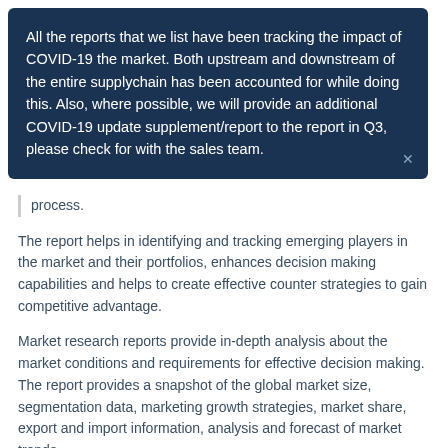All the reports that we list have been tracking the impact of COVID-19 the market. Both upstream and downstream of the entire supplychain has been accounted for while doing this. Also, where possible, we will provide an additional COVID-19 update supplement/report to the report in Q3, please check for with the sales team.
process.
The report helps in identifying and tracking emerging players in the market and their portfolios, enhances decision making capabilities and helps to create effective counter strategies to gain competitive advantage.
Market research reports provide in-depth analysis about the market conditions and requirements for effective decision making. The report provides a snapshot of the global market size, segmentation data, marketing growth strategies, market share, export and import information, analysis and forecast of market trends,